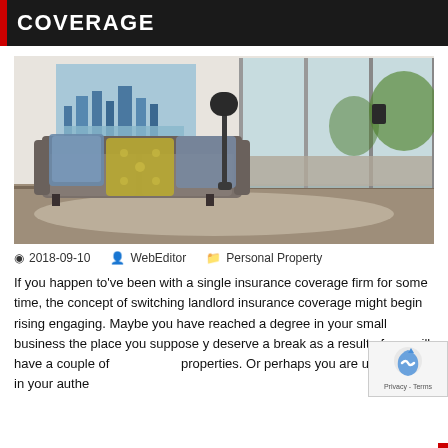COVERAGE
[Figure (photo): Interior photo of a modern living room with a grey sofa with decorative pillows (blue, yellow, grey), a floor lamp, a city skyline painting on the wall, and large glass sliding doors opening to an outdoor patio with trees.]
2018-09-10   WebEditor   Personal Property
If you happen to've been with a single insurance coverage firm for some time, the concept of switching landlord insurance coverage might begin rising engaging. Maybe you have reached a degree in your small business the place you suppose y deserve a break as a result of you will have a couple of properties. Or perhaps you are uninterested in your authenere